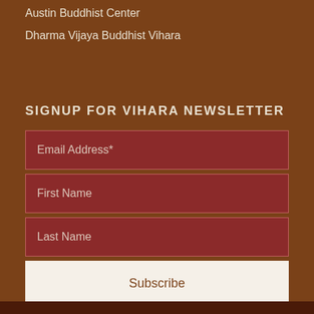Austin Buddhist Center
Dharma Vijaya Buddhist Vihara
SIGNUP FOR VIHARA NEWSLETTER
Email Address*
First Name
Last Name
Subscribe